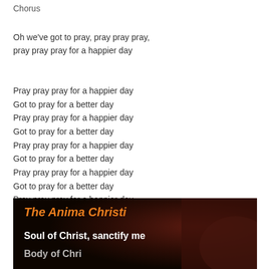Chorus
Oh we've got to pray, pray pray pray,
pray pray pray for a happier day
Pray pray pray for a happier day
Got to pray for a better day
Pray pray pray for a happier day
Got to pray for a better day
Pray pray pray for a happier day
Got to pray for a better day
Pray pray pray for a happier day
Got to pray for a better day
Pray pray pray for a happier day
[Figure (photo): Dark background image with orange bold text 'The Anima Christi' and white subtitle text 'Soul of Christ, sanctify me' and partial line below]